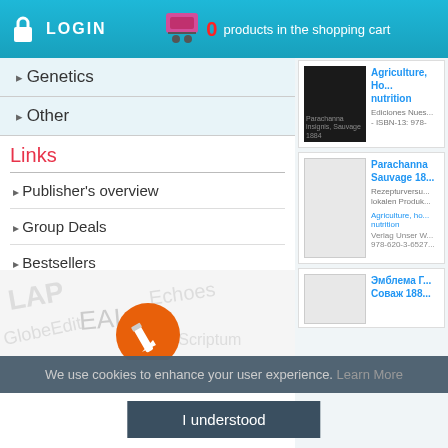LOGIN | 0 products in the shopping cart | Edit cart
Genetics
Other
Links
Publisher's overview
Group Deals
Bestsellers
Our Distributors
Become Author with
[Figure (logo): Become Author with logos including LAP, EAI and other publisher brand logos with orange pencil icon]
[Figure (photo): Book cover - Parachanna insignis Sauvage 1884, dark cover]
Parachanna insignis, Sauvage 1884
Agriculture, horticulture, forestry, nutrition
Ediciones Nuestro Conocimiento - ISBN-13: 978-
[Figure (photo): Book cover placeholder - Parachanna insignis Sauvage 1884, second listing]
Parachanna insignis, Sauvage 18...
Rezepturversu... lokalen Produk...
Agriculture, horticulture, nutrition
Verlag Unser W... 978-620-3-6527...
[Figure (photo): Book cover placeholder - third listing]
Эмблема Г... Соваж 188...
We use cookies to enhance your user experience. Learn More
I understood